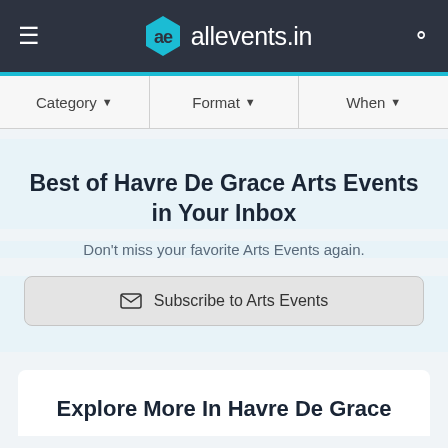allevents.in
Category ▾   Format ▾   When ▾
Best of Havre De Grace Arts Events in Your Inbox
Don't miss your favorite Arts Events again.
✉ Subscribe to Arts Events
Explore More In Havre De Grace